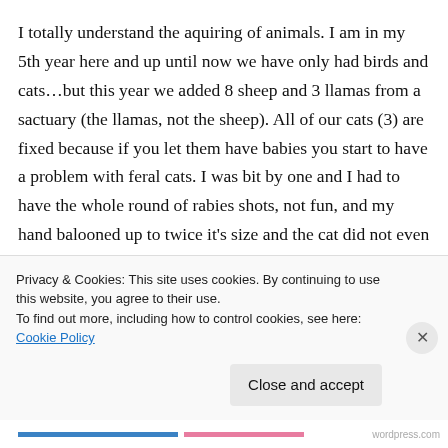I totally understand the aquiring of animals. I am in my 5th year here and up until now we have only had birds and cats…but this year we added 8 sheep and 3 llamas from a sactuary (the llamas, not the sheep). All of our cats (3) are fixed because if you let them have babies you start to have a problem with feral cats. I was bit by one and I had to have the whole round of rabies shots, not fun, and my hand balooned up to twice it's size and the cat did not even draw
Privacy & Cookies: This site uses cookies. By continuing to use this website, you agree to their use.
To find out more, including how to control cookies, see here: Cookie Policy
Close and accept